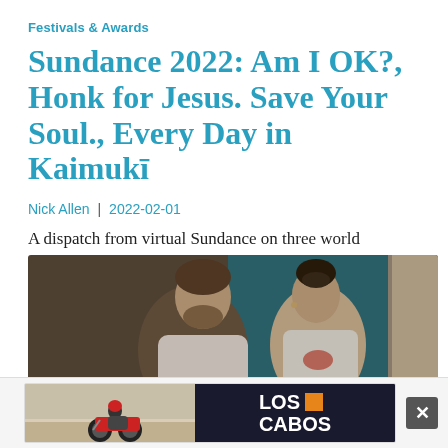Festivals & Awards
Sundance 2022: Am I OK?, Honk for Jesus. Save Your Soul., Every Day in Kaimukī
Nick Allen  |  2022-02-01
A dispatch from virtual Sundance on three world premieres.
[Figure (photo): Two people facing each other in conversation in an indoor setting. A man with short brown hair and beard faces a woman with dark hair pulled up, wearing a light-colored top. The background shows a teal/blue wall and a door.]
[Figure (infographic): Advertisement banner for Los Cabos. Shows a motorcycle rider on the left side with sandy/beach background, and LOS CABOS text in bold white letters on dark background on the right, with an orange square icon next to LOS.]